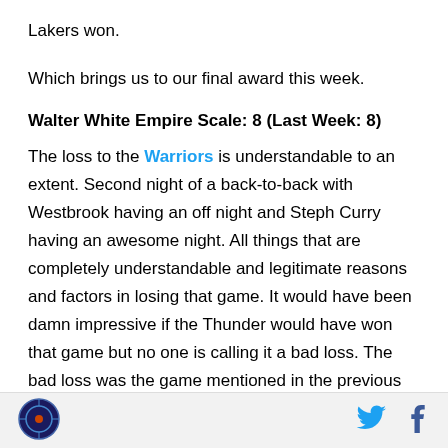Lakers won.
Which brings us to our final award this week.
Walter White Empire Scale: 8 (Last Week: 8)
The loss to the Warriors is understandable to an extent. Second night of a back-to-back with Westbrook having an off night and Steph Curry having an awesome night. All things that are completely understandable and legitimate reasons and factors in losing that game. It would have been damn impressive if the Thunder would have won that game but no one is calling it a bad loss. The bad loss was the game mentioned in the previous award section. I mean the Lakers aren't a good team are they? They're record
[Figure (logo): Circular logo with dark background]
[Figure (logo): Twitter bird icon in blue]
[Figure (logo): Facebook f icon in blue]